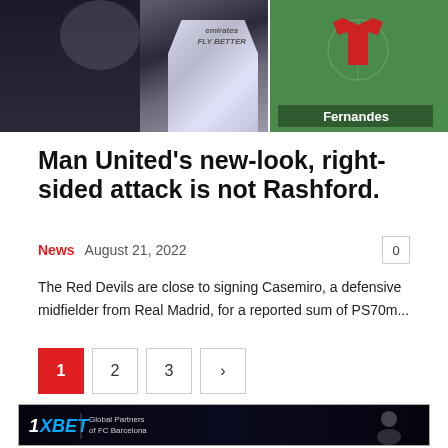[Figure (photo): Top composite image: left side shows a person in dark jacket with Real Madrid white jersey (Emirates Fly Better text visible), right side shows a green football tactics board with a red shirt icon labeled 'Fernandes']
Man United's new-look, right-sided attack is not Rashford.
News  August 21, 2022  0
The Red Devils are close to signing Casemiro, a defensive midfielder from Real Madrid, for a reported sum of PS70m...
Pagination: 1 2 3 >
[Figure (infographic): 1XBET advertisement banner: Global Partners of FC Barcelona. 100% 1ST DEPOSIT BONUS! USE PROMO CODE: Boom100. REGISTER NOW!]